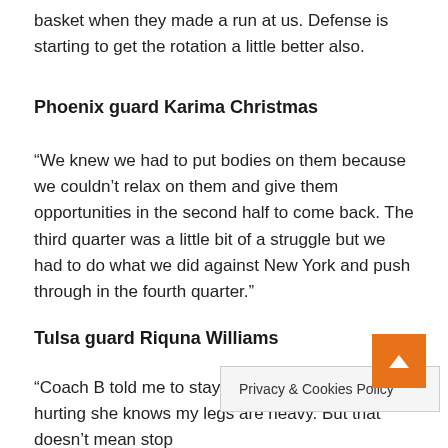basket when they made a run at us. Defense is starting to get the rotation a little better also.
Phoenix guard Karima Christmas
“We knew we had to put bodies on them because we couldn’t relax on them and give them opportunities in the second half to come back. The third quarter was a little bit of a struggle but we had to do what we did against New York and push through in the fourth quarter.”
Tulsa guard Riquna Williams
“Coach B told me to stay in it. She knows I’m hurting she knows my legs are heavy. But that doesn’t mean stop being a professional. Keep giving them all you got. Keep putting up shots. I’m sore; on the… its driving